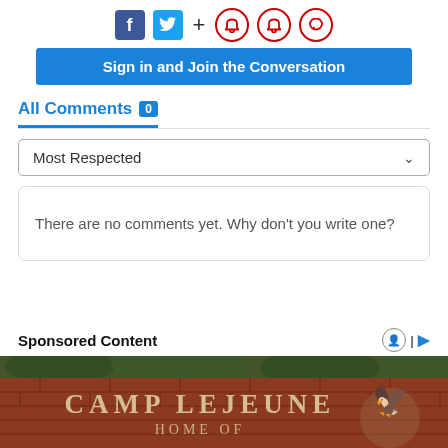[Figure (screenshot): Social sharing icons: Facebook, Twitter, plus sign, and three red circle icons (bookmark, bell, comment)]
[Figure (screenshot): Blue 'Sign in and Join the Conversation' button]
All Comments 0
[Figure (screenshot): Dropdown selector showing 'Most Respected' with chevron]
There are no comments yet. Why don't you write one?
Sponsored Content
[Figure (photo): Camp Lejeune brick sign with eagle globe and anchor emblem, text reads 'CAMP LEJEUNE HOME OF']